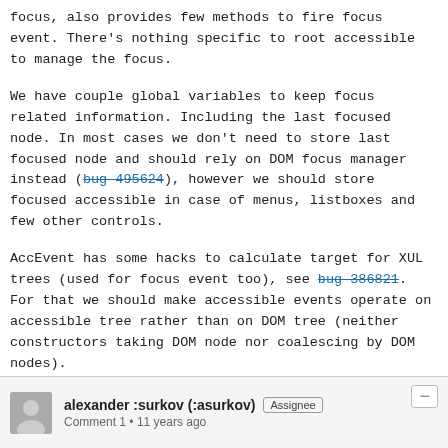focus, also provides few methods to fire focus event. There's nothing specific to root accessible to manage the focus.
We have couple global variables to keep focus related information. Including the last focused node. In most cases we don't need to store last focused node and should rely on DOM focus manager instead (bug 495624), however we should store focused accessible in case of menus, listboxes and few other controls.
AccEvent has some hacks to calculate target for XUL trees (used for focus event too), see bug 386821. For that we should make accessible events operate on accessible tree rather than on DOM tree (neither constructors taking DOM node nor coalescing by DOM nodes).
alexander :surkov (:asurkov)  Assignee
Comment 1 • 11 years ago